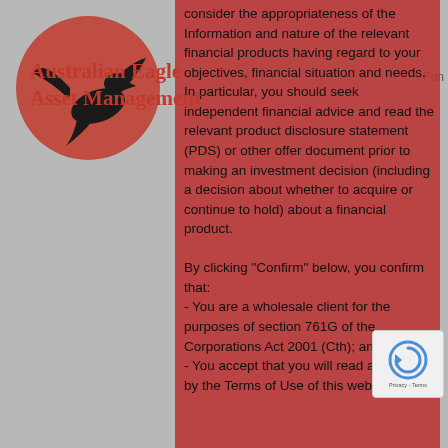[Figure (logo): Australian Eagle Asset Management logo — red circle with black eagle silhouette]
Australian Eagle
Asset Management
consider the appropriateness of the Information and nature of the relevant financial products having regard to your objectives, financial situation and needs. In particular, you should seek independent financial advice and read the relevant product disclosure statement (PDS) or other offer document prior to making an investment decision (including a decision about whether to acquire or continue to hold) about a financial product.

By clicking "Confirm" below, you confirm that:
- You are a wholesale client for the purposes of section 761G of the Corporations Act 2001 (Cth); and
- You accept that you will read and abide by the Terms of Use of this website
[Figure (other): reCAPTCHA badge with circular arrow icon and Privacy - Terms text]